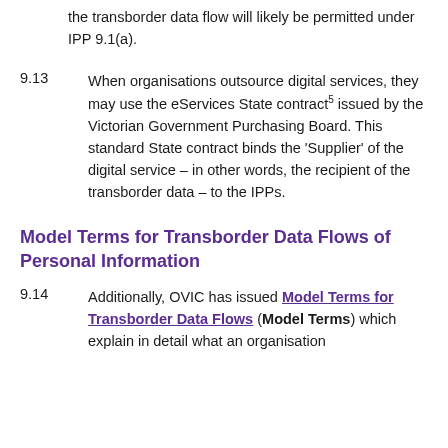the transborder data flow will likely be permitted under IPP 9.1(a).
9.13   When organisations outsource digital services, they may use the eServices State contract5 issued by the Victorian Government Purchasing Board. This standard State contract binds the 'Supplier' of the digital service – in other words, the recipient of the transborder data – to the IPPs.
Model Terms for Transborder Data Flows of Personal Information
9.14   Additionally, OVIC has issued Model Terms for Transborder Data Flows (Model Terms) which explain in detail what an organisation